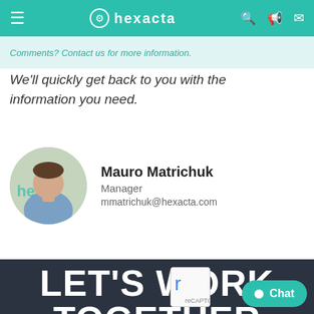hexacta
Comments? Contact us for more information.
We'll quickly get back to you with the information you need.
Mauro Matrichuk
Manager
mmatrichuk@hexacta.com
LET'S WORK TOGETHER